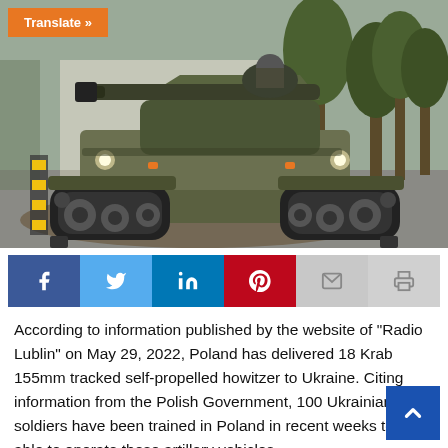[Figure (photo): A Krab 155mm tracked self-propelled howitzer on a dirt road surrounded by trees, viewed from the front-left, with a soldier visible in the turret hatch.]
[Figure (infographic): Social media sharing bar with Facebook, Twitter, LinkedIn, Pinterest, Email, and Print buttons]
According to information published by the website of “Radio Lublin” on May 29, 2022, Poland has delivered 18 Krab 155mm tracked self-propelled howitzer to Ukraine. Citing information from the Polish Government, 100 Ukrainian soldiers have been trained in Poland in recent weeks to be able to operate these artillery vehicles.